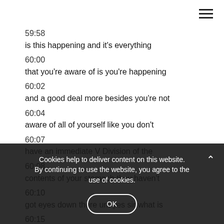☰
59:58
is this happening and it's everything
60:00
that you're aware of is you're happening
60:02
and a good deal more besides you're not
60:04
aware of all of yourself like you don't
60:07
have an immediate V Division of the
60:08
contents of your stomach they haven't
60:10
got eyes down there um yes sir what is
60:15
your train
Cookies help to deliver content on this website. By continuing to use the website, you agree to the use of cookies.
OK